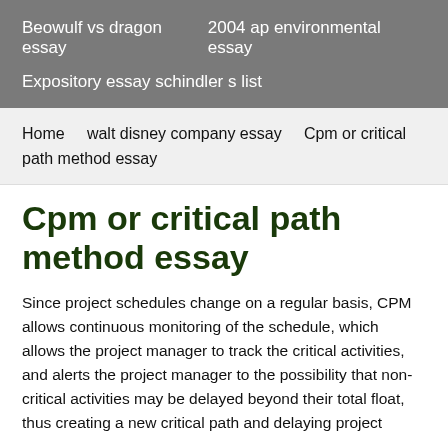Beowulf vs dragon essay    2004 ap environmental essay    Expository essay schindler s list
Home    walt disney company essay    Cpm or critical path method essay
Cpm or critical path method essay
Since project schedules change on a regular basis, CPM allows continuous monitoring of the schedule, which allows the project manager to track the critical activities, and alerts the project manager to the possibility that non-critical activities may be delayed beyond their total float, thus creating a new critical path and delaying project